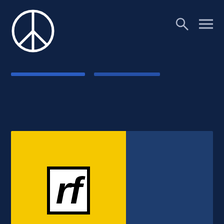[Figure (logo): Peace symbol logo in white circle outline on dark navy background, top left of page header]
[Figure (logo): RF logo: white letters 'rf' in black-bordered box on yellow background, representing Radif or similar publication]
← Can't Spit, Can't Sleep, Can't Get Warm: the Everyday Cruelty of Police Harassment in Albuquerque → The Global Saudi Dawa Project: An Interview with Krithika Varagur